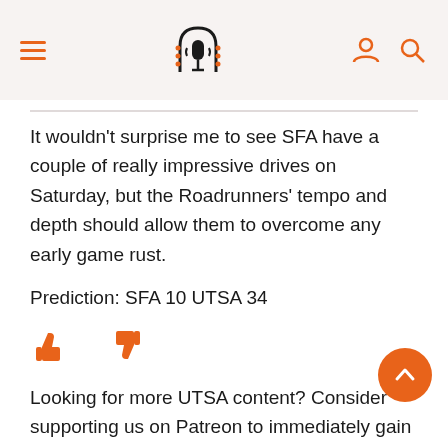Navigation header with hamburger menu, podcast logo, user icon, and search icon
It wouldn't surprise me to see SFA have a couple of really impressive drives on Saturday, but the Roadrunners' tempo and depth should allow them to overcome any early game rust.
Prediction: SFA 10 UTSA 34
[Figure (illustration): Thumbs up and thumbs down icons in orange]
Share this post:
[Figure (infographic): Four orange circular social media share buttons: Twitter, Facebook, Reddit, Email]
Looking for more UTSA content? Consider supporting us on Patreon to immediately gain